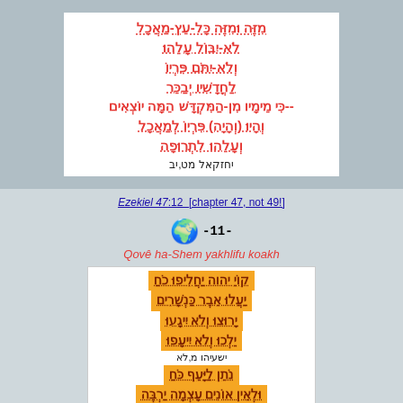מִזֶּה וּמִזֶּה כָּל-עֵץ-מַאֲכָל לֹא-יִבּוֹל עָלֵהוּ וְלֹא-יִתֹּם פִּרְיוֹ לַחֳדָשִׁיו יְבַכֵּר --כִּי מֵימָיו מִן-הַמִּקְדָּשׁ הֵמָּה יוֹצְאִים וְהָיוּ (וְהָיָה) פִּרְיוֹ לְמַאֲכָל וְעָלֵהוּ לִתְרוּפָה
יחזקאל מט,יב
Ezekiel 47:12  [chapter 47, not 49!]
-11-
Qovê ha-Shem yakhlifu koakh
קוֹיֵ יהוה יַחֲלִיפוּ כֹחַ יַעֲלוּ אֵבֶר כַּנְשָׁרִים יָרוּצוּ וְלֹא יִיגָעוּ יֵלְכוּ וְלֹא יִיעָפוּ
ישעיהו מ,לא
נֹתֵן לַיָּעֵף כֹּחַ וּלְאֵין אוֹנִים עָצְמָה יַרְבֶּה יָרוּצוּ וְלֹא יִיגָעוּ